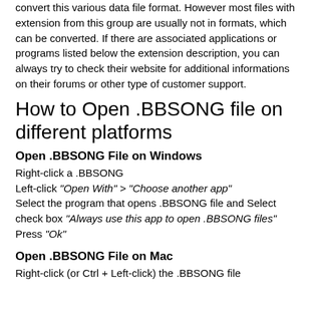convert this various data file format. However most files with extension from this group are usually not in formats, which can be converted. If there are associated applications or programs listed below the extension description, you can always try to check their website for additional informations on their forums or other type of customer support.
How to Open .BBSONG file on different platforms
Open .BBSONG File on Windows
Right-click a .BBSONG
Left-click "Open With" > "Choose another app"
Select the program that opens .BBSONG file and Select check box "Always use this app to open .BBSONG files"
Press "Ok"
Open .BBSONG File on Mac
Right-click (or Ctrl + Left-click) the .BBSONG file